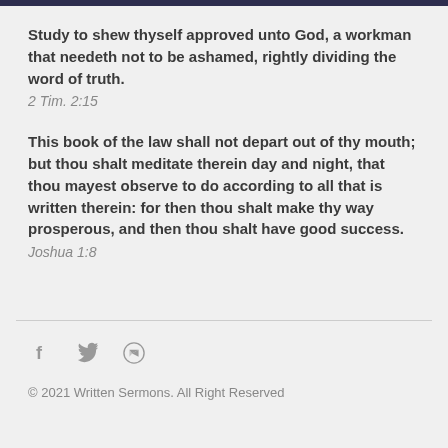Study to shew thyself approved unto God, a workman that needeth not to be ashamed, rightly dividing the word of truth.
2 Tim. 2:15
This book of the law shall not depart out of thy mouth; but thou shalt meditate therein day and night, that thou mayest observe to do according to all that is written therein: for then thou shalt make thy way prosperous, and then thou shalt have good success.
Joshua 1:8
© 2021 Written Sermons. All Right Reserved